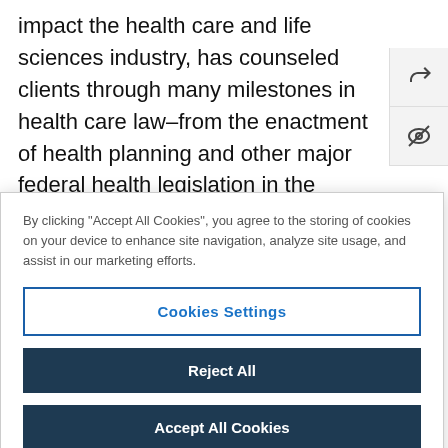impact the health care and life sciences industry, has counseled clients through many milestones in health care law–from the enactment of health planning and other major federal health legislation in the 1970s, to the passage of new Medicare legislation and, most recently, the passage and implementation of the Affordable Care Act.
By clicking "Accept All Cookies", you agree to the storing of cookies on your device to enhance site navigation, analyze site usage, and assist in our marketing efforts.
Cookies Settings
Reject All
Accept All Cookies